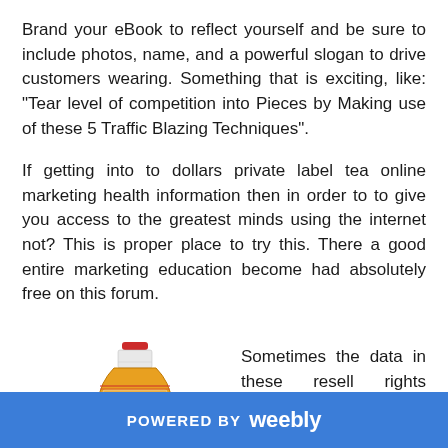Brand your eBook to reflect yourself and be sure to include photos, name, and a powerful slogan to drive customers wearing. Something that is exciting, like: "Tear level of competition into Pieces by Making use of these 5 Traffic Blazing Techniques".
If getting into to dollars private label tea online marketing health information then in order to to give you access to the greatest minds using the internet not? This is proper place to try this. There a good entire marketing education become had absolutely free on this forum.
[Figure (photo): A bottle of Monin syrup (golden/amber colored liquid) with a red cap and white label]
Sometimes the data in these resell rights products is
POWERED BY weebly